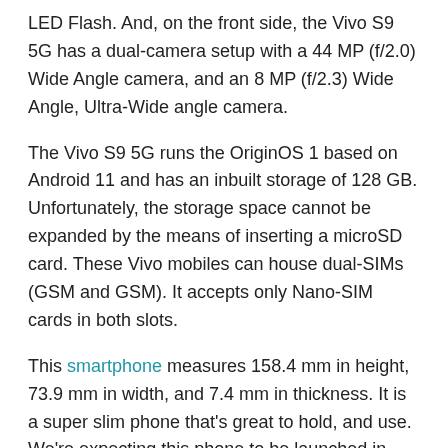LED Flash. And, on the front side, the Vivo S9 5G has a dual-camera setup with a 44 MP (f/2.0) Wide Angle camera, and an 8 MP (f/2.3) Wide Angle, Ultra-Wide angle camera.
The Vivo S9 5G runs the OriginOS 1 based on Android 11 and has an inbuilt storage of 128 GB. Unfortunately, the storage space cannot be expanded by the means of inserting a microSD card. These Vivo mobiles can house dual-SIMs (GSM and GSM). It accepts only Nano-SIM cards in both slots.
This smartphone measures 158.4 mm in height, 73.9 mm in width, and 7.4 mm in thickness. It is a super slim phone that's great to hold, and use. We're expecting this phone to be launched in three colours: White, Midnight Blue, Gradient Blue.
Some of the connectivity options on the Vivo S9 5G include